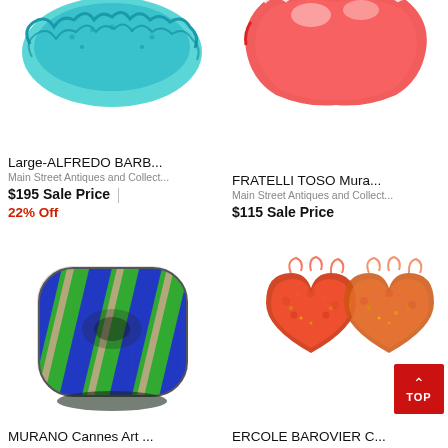[Figure (photo): Blue/teal crocheted or ruffled Murano glass item, cropped at top, white background]
Large-ALFREDO BARB...
Main Street Antiques and Collect...
$195 Sale Price
22% Off
[Figure (photo): Red/white Murano glass bowl or dish, cropped at top, white background]
FRATELLI TOSO Mura...
Main Street Antiques and Collect...
$115 Sale Price
[Figure (photo): Murano Cannes Art glass bowl with green and blue spiral stripe pattern on white background]
MURANO Cannes Art ...
[Figure (photo): Two heart-shaped Ercole Barovier Murano glass ashtrays in red/orange with gold flecks]
ERCOLE BAROVIER C...